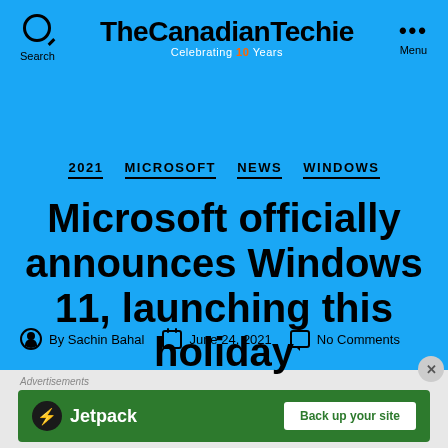TheCanadianTechie — Celebrating 10 Years
2021  MICROSOFT  NEWS  WINDOWS
Microsoft officially announces Windows 11, launching this holiday
By Sachin Bahal   June 24, 2021   No Comments
[Figure (screenshot): Jetpack advertisement banner: dark green background with Jetpack logo and 'Back up your site' call-to-action button]